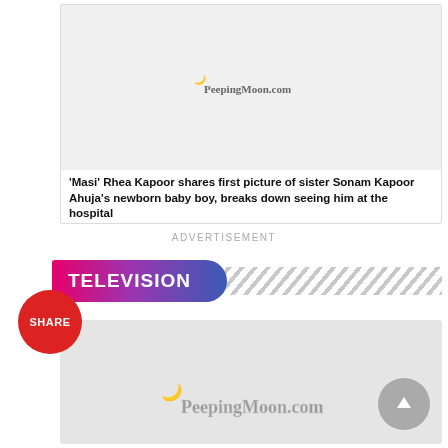[Figure (screenshot): Card with PeepingMoon.com logo image placeholder (gray background)]
'Masi' Rhea Kapoor shares first picture of sister Sonam Kapoor Ahuja's newborn baby boy, breaks down seeing him at the hospital
ADVERTISEMENT
TELEVISION
SHARE
[Figure (screenshot): Large gray card with PeepingMoon.com logo at bottom center]